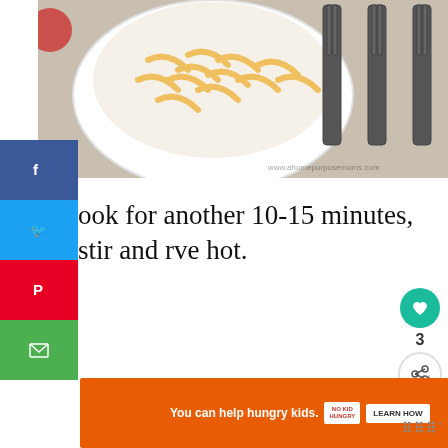[Figure (photo): Bowl of penne pasta with dark forks on a light background, watermark www.ahomepurposemoms.com]
ook for another 10-15 minutes, stir and rve hot.
[Figure (infographic): SHE CAN STEM advertisement banner with Learn More button, STEM logo, and Ad Council logo]
[Figure (infographic): You can help hungry kids. No Kid Hungry. LEARN HOW. Orange advertisement banner with close button.]